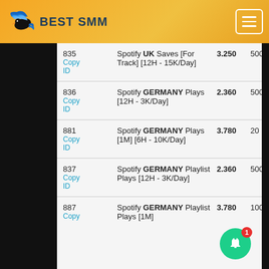[Figure (logo): Best SMM logo with hummingbird and text]
| ID | Description | Price | Min |
| --- | --- | --- | --- |
| 835
Copy ID | Spotify UK Saves [For Track] [12H - 15K/Day] | 3.250 | 500 |
| 836
Copy ID | Spotify GERMANY Plays [12H - 3K/Day] | 2.360 | 500 |
| 881
Copy ID | Spotify GERMANY Plays [1M] [6H - 10K/Day] | 3.780 | 20 |
| 837
Copy ID | Spotify GERMANY Playlist Plays [12H - 3K/Day] | 2.360 | 500 |
| 887
Copy | Spotify GERMANY Playlist Plays [1M] | 3.780 | 1000 |